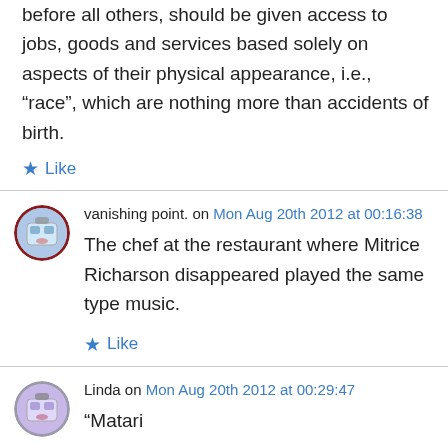before all others, should be given access to jobs, goods and services based solely on aspects of their physical appearance, i.e., “race”, which are nothing more than accidents of birth.
★ Like
vanishing point. on Mon Aug 20th 2012 at 00:16:38
The chef at the restaurant where Mitrice Richarson disappeared played the same type music.
★ Like
Linda on Mon Aug 20th 2012 at 00:29:47
“Matari